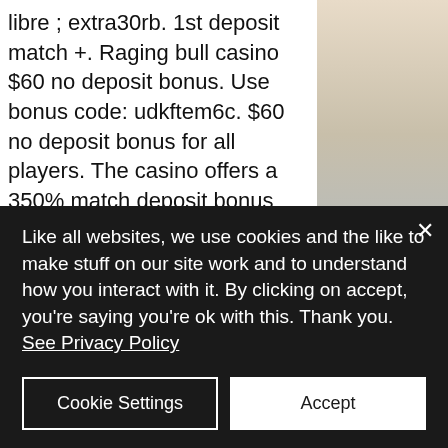libre ; extra30rb. 1st deposit match +. Raging bull casino $60 no deposit bonus. Use bonus code: udkftem6c. $60 no deposit bonus for all players. The casino offers a 350% match deposit bonus plus 35 free spins to play on mermaid's pearls pokies. You need to use the bonus code mermaid350 to unlock it. 100 free spins for all players. Valid for: ancient god slot. This bonus expires on 2022-04-30. Raging bull casino no deposit and free spins bonus code list ; $60 no deposit bonus18+ only. U9huq4hv3, 30x b · claim bonus ; 10 free spins on cash. I would only recommend
Like all websites, we use cookies and the like to make stuff on our site work and to understand how you interact with it. By clicking on accept, you're saying you're ok with this. Thank you. See Privacy Policy